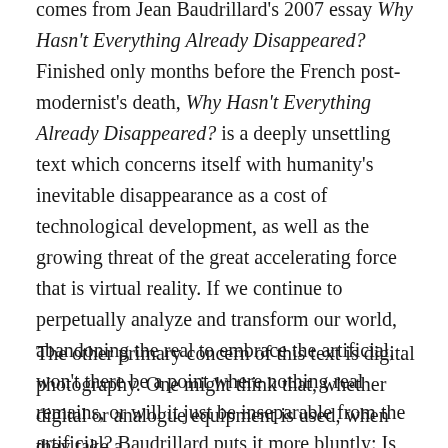comes from Jean Baudrillard's 2007 essay Why Hasn't Everything Already Disappeared? Finished only months before the French post-modernist's death, Why Hasn't Everything Already Disappeared? is a deeply unsettling text which concerns itself with humanity's inevitable disappearance as a cost of technological development, as well as the growing threat of the great accelerating force that is virtual reality. If we continue to perpetually analyze and transform our world, abandoning the real to embrace the artificial, won't there be a point where nothing real remains, or will it just be inseparable from the artificial? Baudrillard puts it more bluntly: Is everything doomed to disappear?
The other primary concern of this text is digital photography. One might think that, whether digital or analogue equipment is used, when they take a